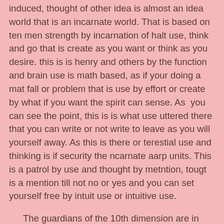induced, thought of other idea is almost an idea world that is an incarnate world. That is based on ten men strength by incarnation of halt use, think and go that is create as you want or think as you desire. this is is henry and others by the function and brain use is math based, as if your doing a mat fall or problem that is use by effort or create by what if you want the spirit can sense. As  you can see the point, this is is what use uttered there that you can write or not write to leave as you will yourself away. As this is there or terestial use and thinking is if security the ncarnate aarp units. This is a patrol by use and thought by metntion, tougt is a mention till not no or yes and you can set yourself free by intuit use or intuitive use.
The guardians of the 10th dimension are in between the 9th and 10th and called nonexistant beings, that live in the temple of death and destruction considered on a 2nd layer to be the demon temple. Think to exist of dark matter and live off, energy and you won't hit itself like an idea or a kitsune with magic. I think they live off the written law that is in a space station in saturn of which the land was described. They can make or they can worsen as if can't take any shape and any ability as their own or make any ability utility